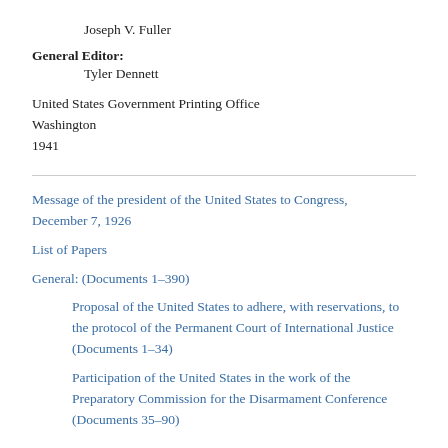Joseph V. Fuller
General Editor:
        Tyler Dennett
United States Government Printing Office
Washington
1941
Message of the president of the United States to Congress, December 7, 1926
List of Papers
General: (Documents 1–390)
Proposal of the United States to adhere, with reservations, to the protocol of the Permanent Court of International Justice (Documents 1–34)
Participation of the United States in the work of the Preparatory Commission for the Disarmament Conference (Documents 35–90)